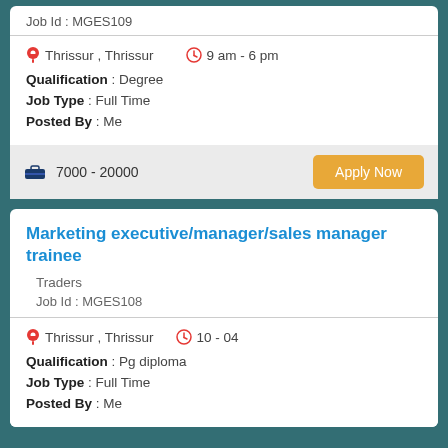Job Id : MGES109
Thrissur , Thrissur   9 am - 6 pm
Qualification : Degree
Job Type : Full Time
Posted By : Me
7000 - 20000
Apply Now
Marketing executive/manager/sales manager trainee
Traders
Job Id : MGES108
Thrissur , Thrissur   10 - 04
Qualification : Pg diploma
Job Type : Full Time
Posted By : Me